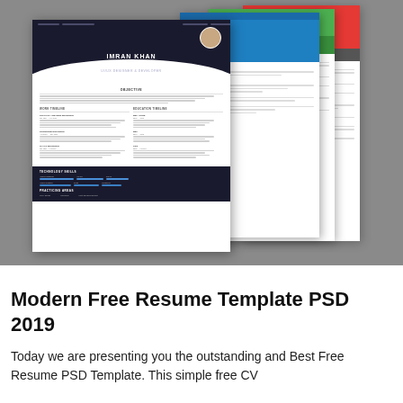[Figure (screenshot): A product preview image showing multiple resume template designs in different color schemes. The main template (white/dark) shows 'IMRAN KHAN' with sections for Objective, Work Timeline, and Education Timeline. Behind it are three additional color variants in blue, green, and red.]
Modern Free Resume Template PSD 2019
Today we are presenting you the outstanding and Best Free Resume PSD Template. This simple free CV